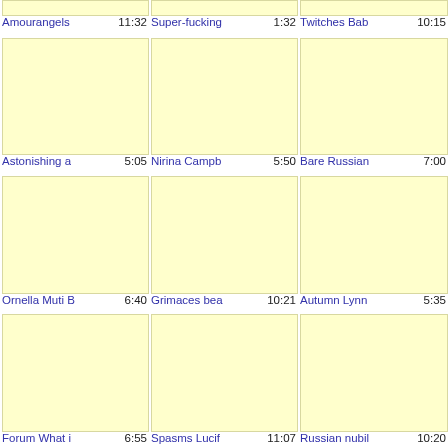[Figure (screenshot): Video thumbnail grid showing 9 video entries, each with a light yellow placeholder thumbnail image, a truncated video title in blue, and a duration timestamp. Row 1 partial: Amourangels 11:32, Super-fucking 1:32, Twitches Bab 10:15. Row 2: Astonishing a 5:05, Nirina Campb 5:50, Bare Russian 7:00. Row 3: Ornella Muti B 6:40, Grimaces bea 10:21, Autumn Lynn 5:35. Row 4 partial: Forum What i 6:55, Spasms Lucif 11:07, Russian nubil 10:20.]